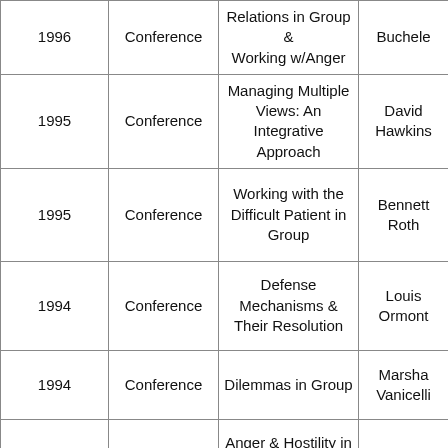| Year | Type | Topic | Speaker |
| --- | --- | --- | --- |
| 1996 | Conference | Relations in Group & Working w/Anger | Buchele |
| 1995 | Conference | Managing Multiple Views: An Integrative Approach | David Hawkins |
| 1995 | Conference | Working with the Difficult Patient in Group | Bennett Roth |
| 1994 | Conference | Defense Mechanisms & Their Resolution | Louis Ormont |
| 1994 | Conference | Dilemmas in Group | Marsha Vanicelli |
| 1993 | Conference | Anger & Hostility in Group & Money Issues | Jerome Gans |
| 1993 | Conference | Dynamic Context of Inpatient Group Therapy | Howard Kibel |
|  |  | Countertransference |  |